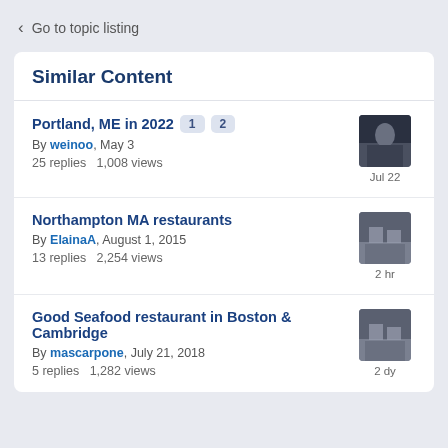< Go to topic listing
Similar Content
Portland, ME in 2022  1  2 — By weinoo, May 3 — 25 replies  1,008 views — Jul 22
Northampton MA restaurants — By ElainaA, August 1, 2015 — 13 replies  2,254 views — 2 hr
Good Seafood restaurant in Boston & Cambridge — By mascarpone, July 21, 2018 — 5 replies  1,282 views — 2 dy